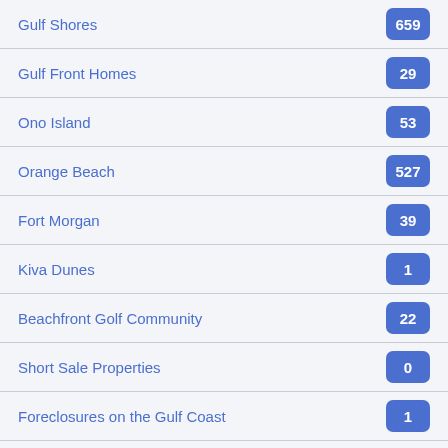Gulf Shores | 659
Gulf Front Homes | 29
Ono Island | 53
Orange Beach | 527
Fort Morgan | 39
Kiva Dunes | 1
Beachfront Golf Community | 22
Short Sale Properties | 0
Foreclosures on the Gulf Coast | 1
Golf Communities | 21
Gulf Front Condos | 281